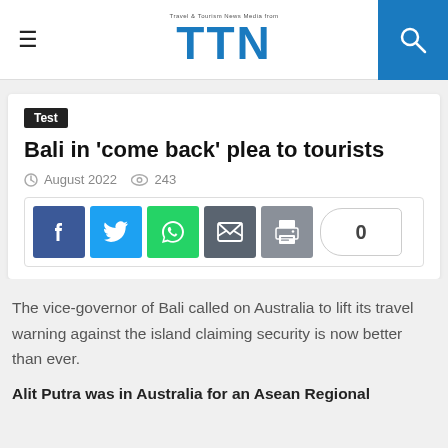TTN - Travel & Tourism News Media from
Test
Bali in 'come back' plea to tourists
August 2022   243
[Figure (other): Social share buttons: Facebook, Twitter, WhatsApp, Email, Print, and a count badge showing 0]
The vice-governor of Bali called on Australia to lift its travel warning against the island claiming security is now better than ever.
Alit Putra was in Australia for an Asean Regional